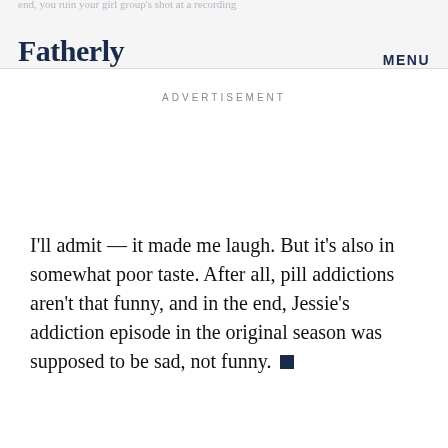end, you ruin your girl group's shot at a recording
Fatherly   MENU
ADVERTISEMENT
I'll admit — it made me laugh. But it's also in somewhat poor taste. After all, pill addictions aren't that funny, and in the end, Jessie's addiction episode in the original season was supposed to be sad, not funny.